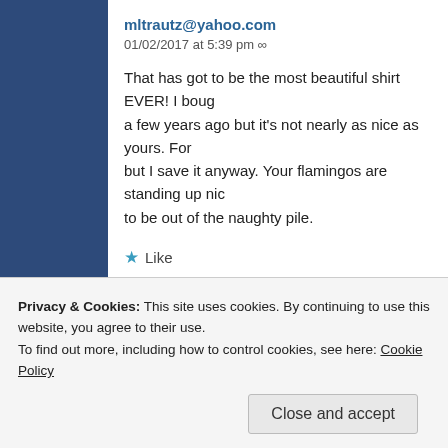mltrautz@yahoo.com
01/02/2017 at 5:39 pm ∞
That has got to be the most beautiful shirt EVER! I bought a flamingo shirt a few years ago but it's not nearly as nice as yours. For some reason it's thin, but I save it anyway. Your flamingos are standing up nicely. They deserve to be out of the naughty pile.
★ Like
Reply
Sara-Lu
Privacy & Cookies: This site uses cookies. By continuing to use this website, you agree to their use.
To find out more, including how to control cookies, see here: Cookie Policy
Close and accept